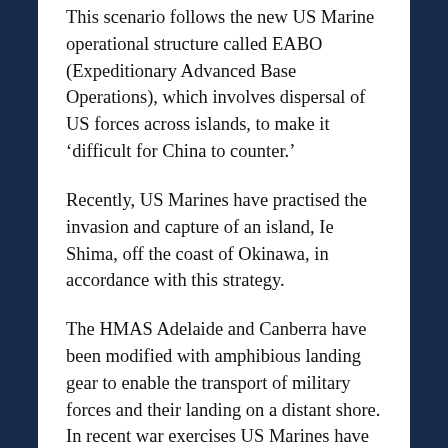This scenario follows the new US Marine operational structure called EABO (Expeditionary Advanced Base Operations), which involves dispersal of US forces across islands, to make it ‘difficult for China to counter.’
Recently, US Marines have practised the invasion and capture of an island, Ie Shima, off the coast of Okinawa, in accordance with this strategy.
The HMAS Adelaide and Canberra have been modified with amphibious landing gear to enable the transport of military forces and their landing on a distant shore. In recent war exercises US Marines have been imbedded on these Australian naval ships.
IBAN calls on the Australian Government to...